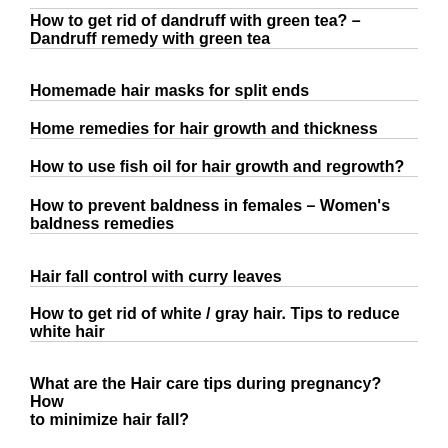How to get rid of dandruff with green tea? – Dandruff remedy with green tea
Homemade hair masks for split ends
Home remedies for hair growth and thickness
How to use fish oil for hair growth and regrowth?
How to prevent baldness in females – Women's baldness remedies
Hair fall control with curry leaves
How to get rid of white / gray hair. Tips to reduce white hair
What are the Hair care tips during pregnancy? How to minimize hair fall?